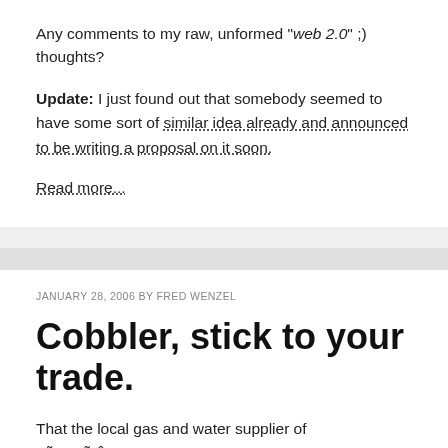Any comments to my raw, unformed "web 2.0" ;) thoughts?
Update: I just found out that somebody seemed to have some sort of similar idea already and announced to be writing a proposal on it soon.
Read more...
JANUARY 28, 2006 BY FRED WENZEL
Cobbler, stick to your trade.
That the local gas and water supplier of LÃƒÆ'Ã‚Â¼beck, Germany also acts as an ISP for residential DSL connections is maybe surprising, but not particularly bad.